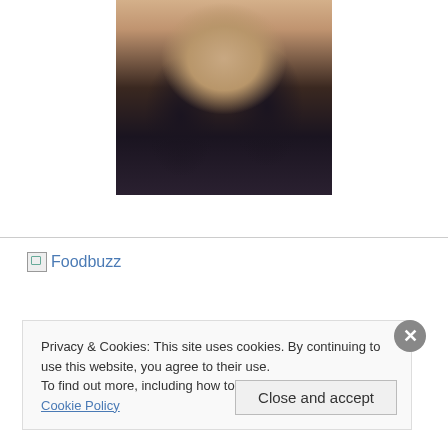[Figure (photo): Portrait photo of a young woman with long brown hair, smiling, wearing a dark navy tank top, photographed against a light background]
[Figure (other): Broken image link showing Foodbuzz logo text as a hyperlink]
Privacy & Cookies: This site uses cookies. By continuing to use this website, you agree to their use.
To find out more, including how to control cookies, see here: Cookie Policy
Close and accept